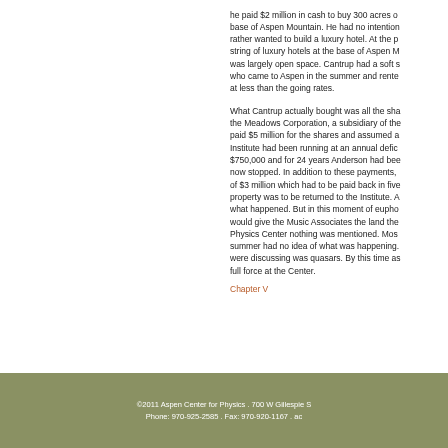he paid $2 million in cash to buy 300 acres of land at the base of Aspen Mountain. He had no intention to ski there but rather wanted to build a luxury hotel. At the p... string of luxury hotels at the base of Aspen M... was largely open space. Cantrup had a soft s... who came to Aspen in the summer and rente... at less than the going rates.
What Cantrup actually bought was all the sha... the Meadows Corporation, a subsidiary of the... paid $5 million for the shares and assumed a... Institute had been running at an annual defic... $750,000 and for 24 years Anderson had bee... now stopped. In addition to these payments, ... of $3 million which had to be paid back in five... property was to be returned to the Institute. A... what happened. But in this moment of eupho... would give the Music Associates the land the... Physics Center nothing was mentioned. Mos... summer had no idea of what was happening.... were discussing was quasars. By this time as... full force at the Center.
Chapter V
©2011 Aspen Center for Physics . 700 W Gillespie S... Phone: 970-925-2585 . Fax: 970-920-1167 . ac...